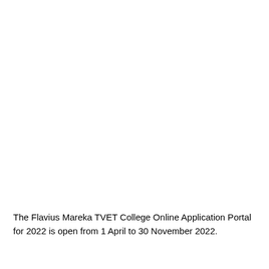The Flavius Mareka TVET College Online Application Portal for 2022 is open from 1 April to 30 November 2022.